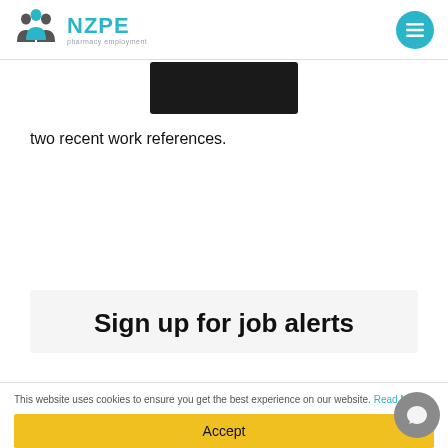NZPE pharmacy employment
[Figure (illustration): Dark redacted/blurred content block]
two recent work references.
Sign up for job alerts
This website uses cookies to ensure you get the best experience on our website. Read More
Accept